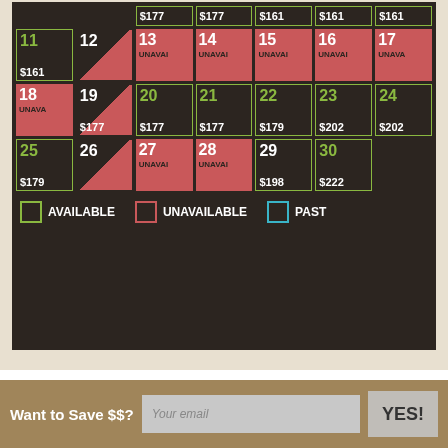[Figure (other): Hotel/rental availability calendar showing dates 11-30 with prices. Green-bordered cells are available, red cells are unavailable, blue-bordered cells are past. Prices shown: $161, $177, $179, $198, $202, $222. Legend shows AVAILABLE, UNAVAILABLE, PAST.]
Want to Save $$?
Your email
YES!